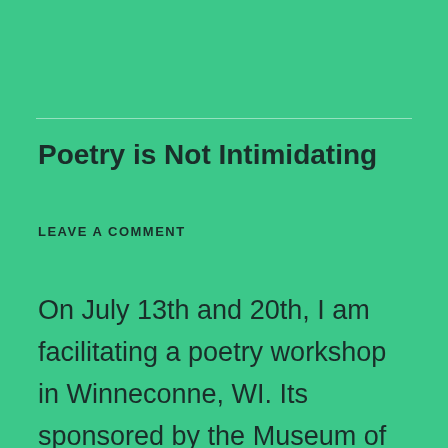Poetry is Not Intimidating
LEAVE A COMMENT
On July 13th and 20th, I am facilitating a poetry workshop in Winneconne, WI. Its sponsored by the Museum of Writing Instruments and they have this interesting idea